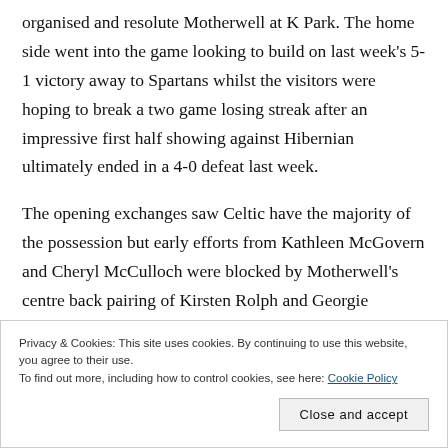organised and resolute Motherwell at K Park. The home side went into the game looking to build on last week's 5-1 victory away to Spartans whilst the visitors were hoping to break a two game losing streak after an impressive first half showing against Hibernian ultimately ended in a 4-0 defeat last week.
The opening exchanges saw Celtic have the majority of the possession but early efforts from Kathleen McGovern and Cheryl McCulloch were blocked by Motherwell's centre back pairing of Kirsten Rolph and Georgie Rafferty, a feat
Privacy & Cookies: This site uses cookies. By continuing to use this website, you agree to their use.
To find out more, including how to control cookies, see here: Cookie Policy